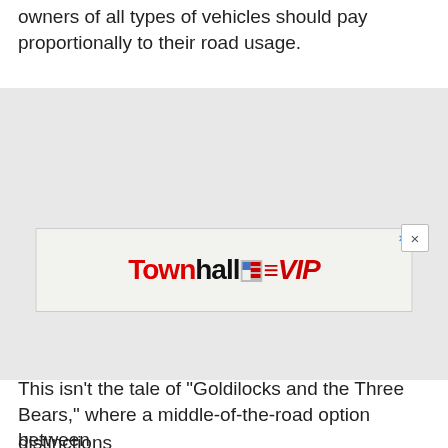owners of all types of vehicles should pay proportionally to their road usage.
[Figure (other): Advertisement placeholder block (gray background)]
This isn't the tale of "Goldilocks and the Three Bears," where a middle-of-the-road option between
[Figure (other): Townhall VIP advertisement banner with logo]
distinctions making it the most reasonable...